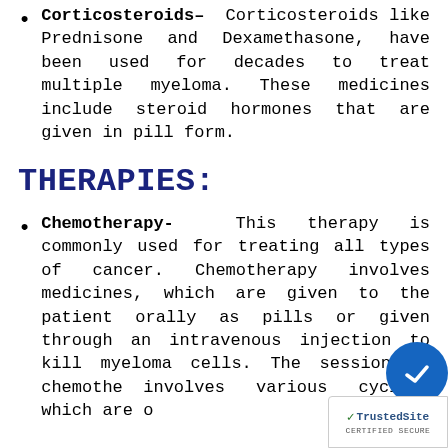Corticosteroids- Corticosteroids like Prednisone and Dexamethasone, have been used for decades to treat multiple myeloma. These medicines include steroid hormones that are given in pill form.
THERAPIES:
Chemotherapy- This therapy is commonly used for treating all types of cancer. Chemotherapy involves medicines, which are given to the patient orally as pills or given through an intravenous injection to kill myeloma cells. The session of chemotherapy involves various cycles, which are o...